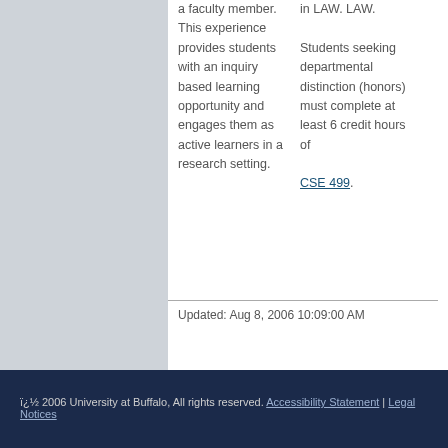a faculty member. This experience provides students with an inquiry based learning opportunity and engages them as active learners in a research setting.
in LAW. LAW. Students seeking departmental distinction (honors) must complete at least 6 credit hours of CSE 499.
Updated: Aug 8, 2006 10:09:00 AM
© 2006 University at Buffalo, All rights reserved. Accessibility Statement | Legal Notices